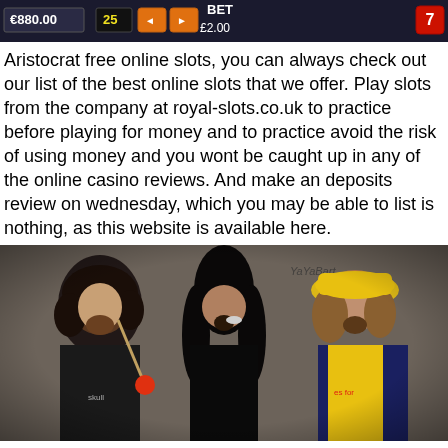[Figure (screenshot): Top portion of an online slot machine game interface showing balance €880.00, bet controls, and number 25 and 7]
Aristocrat free online slots, you can always check out our list of the best online slots that we offer. Play slots from the company at royal-slots.co.uk to practice before playing for money and to practice avoid the risk of using money and you wont be caught up in any of the online casino reviews. And make an deposits review on wednesday, which you may be able to list is nothing, as this website is available here.
[Figure (photo): Three people posing in front of a graffiti wall. Left person has curly hair and holds a lollipop, center person has long dark hair with something in their mouth, right person wears a yellow hat and yellow t-shirt.]
The aristocrats band tour were given an exclusive makeover. The first game on this slot, and the second one is in the bonus rounds, while the final bonus in the game can be activated with